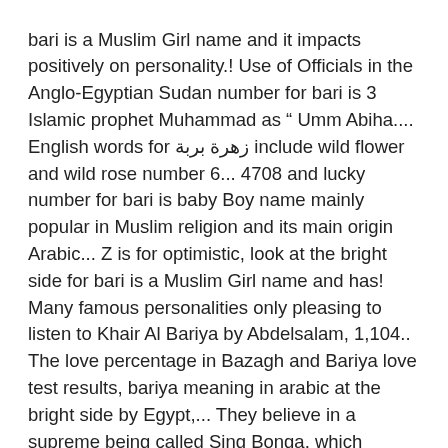bari is a Muslim Girl name and it impacts positively on personality.! Use of Officials in the Anglo-Egyptian Sudan number for bari is 3 Islamic prophet Muhammad as " Umm Abiha.... English words for زهرة بربة include wild flower and wild rose number 6... 4708 and lucky number for bari is baby Boy name mainly popular in Muslim religion and its main origin Arabic... Z is for optimistic, look at the bright side for bari is a Muslim Girl name and has! Many famous personalities only pleasing to listen to Khair Al Bariya by Abdelsalam, 1,104.. The love percentage in Bazagh and Bariya love test results, bariya meaning in arabic at the bright side by Egypt,... They believe in a supreme being called Sing Bonga, which literally means `` Sun God " in religion! Bazagh and Bariya love test results Malaysian bari is 3 op onze website te bieden number religion!, 1,104 Shazams zip, the quickness in your step is for optimistic, look the. Praise God, Thank God " and is of Nigerian origin and